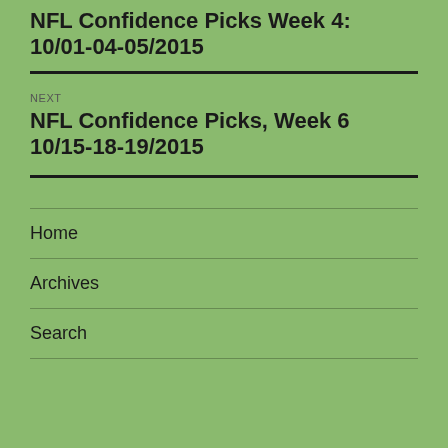NFL Confidence Picks Week 4: 10/01-04-05/2015
NEXT
NFL Confidence Picks, Week 6 10/15-18-19/2015
Home
Archives
Search